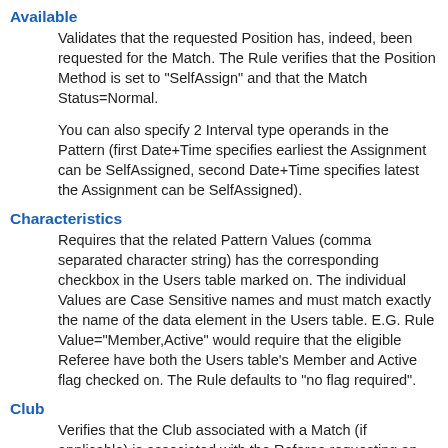Available
Validates that the requested Position has, indeed, been requested for the Match. The Rule verifies that the Position Method is set to "SelfAssign" and that the Match Status=Normal.
You can also specify 2 Interval type operands in the Pattern (first Date+Time specifies earliest the Assignment can be SelfAssigned, second Date+Time specifies latest the Assignment can be SelfAssigned).
Characteristics
Requires that the related Pattern Values (comma separated character string) has the corresponding checkbox in the Users table marked on. The individual Values are Case Sensitive names and must match exactly the name of the data element in the Users table. E.G. Rule Value="Member,Active" would require that the eligible Referee have both the Users table's Member and Active flag checked on. The Rule defaults to "no flag required".
Club
Verifies that the Club associated with a Match (if applicable) is associated with the Referee requesting an Assignment. Note that this Rule will require some